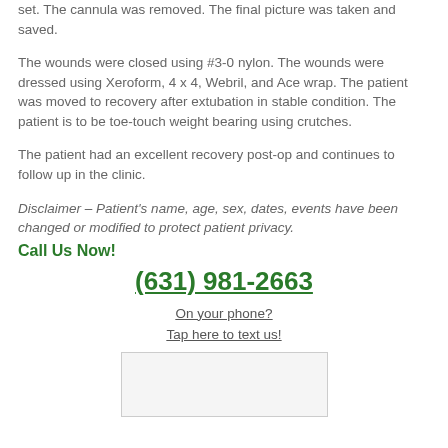set. The cannula was removed. The final picture was taken and saved.
The wounds were closed using #3-0 nylon. The wounds were dressed using Xeroform, 4 x 4, Webril, and Ace wrap. The patient was moved to recovery after extubation in stable condition. The patient is to be toe-touch weight bearing using crutches.
The patient had an excellent recovery post-op and continues to follow up in the clinic.
Disclaimer – Patient's name, age, sex, dates, events have been changed or modified to protect patient privacy.
Call Us Now!
(631) 981-2663
On your phone?
Tap here to text us!
[Figure (other): A small rectangular box/image placeholder at the bottom center of the page]